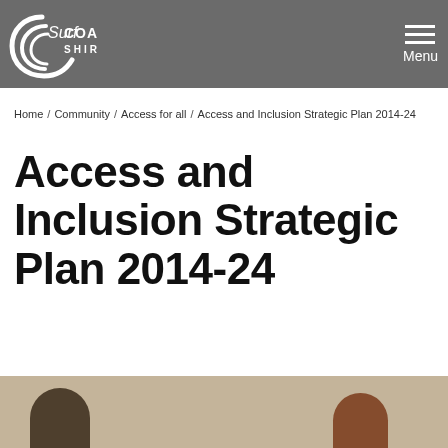Surf Coast Shire — Menu
Home / Community / Access for all / Access and Inclusion Strategic Plan 2014-24
Access and Inclusion Strategic Plan 2014-24
[Figure (photo): Bottom portion of a photograph showing two people partially visible at the bottom of the page, cropped at the top.]